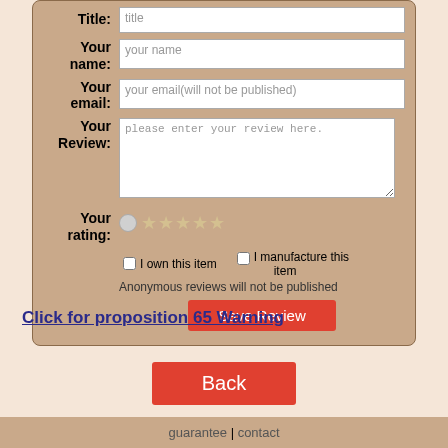[Figure (screenshot): Web form with fields: Title, Your name, Your email, Your Review, Your rating (stars), checkboxes for ownership and manufacturer, anonymous review note, Save Review button]
Click for proposition 65 Warning
Back
guarantee | contact